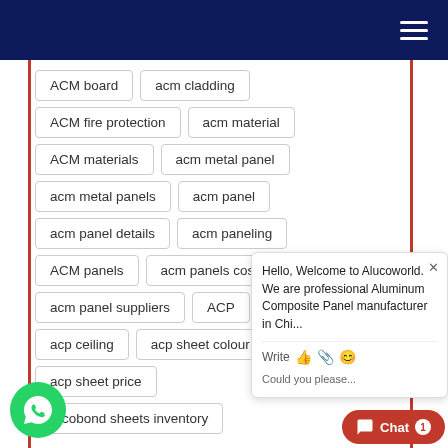ACM board
acm cladding
ACM fire protection
acm material
ACM materials
acm metal panel
acm metal panels
acm panel
acm panel details
acm paneling
ACM panels
acm panels cost
acm panel suppliers
ACP
acp ceiling
acp sheet colour
acp sheet price
Alcobond sheets inventory
Hello, Welcome to Alucoworld. We are professional Aluminum Composite Panel manufacturer in Chi...
Write
Could you please...
Chat 1